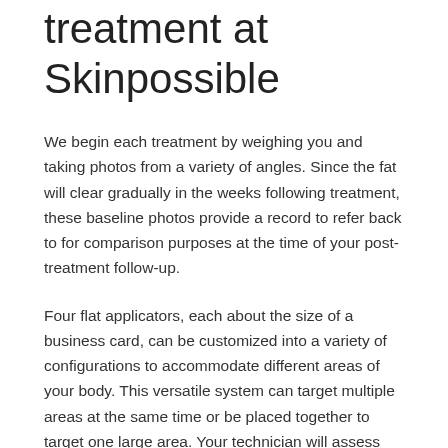treatment at Skinpossible
We begin each treatment by weighing you and taking photos from a variety of angles. Since the fat will clear gradually in the weeks following treatment, these baseline photos provide a record to refer back to for comparison purposes at the time of your post-treatment follow-up.
Four flat applicators, each about the size of a business card, can be customized into a variety of configurations to accommodate different areas of your body. This versatile system can target multiple areas at the same time or be placed together to target one large area. Your technician will assess and mark the areas to be treated to determine precisely where the contouring frames should be placed. The frames will be secured to the